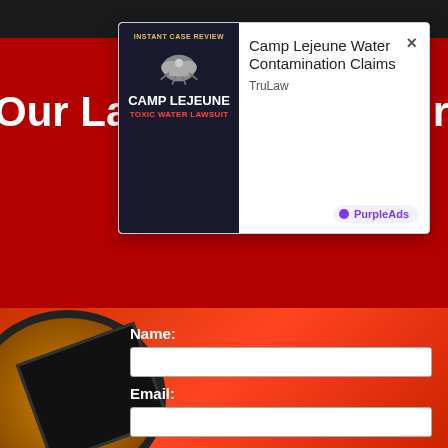[Figure (screenshot): Advertisement popup overlay on a red website background. The popup shows a Camp Lejeune Toxic Water Lawsuit ad with an eagle emblem on the left thumbnail and 'Camp Lejeune Water Contamination Claims' title text, 'TruLaw' advertiser, and 'PurpleAds' label at bottom right. A close (×) button appears top right of popup.]
Our Latest Podcast Direct To You!
Name:
Email: